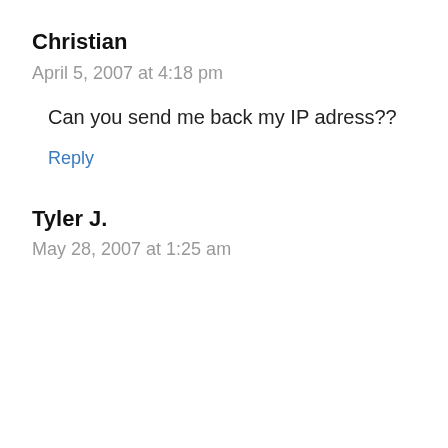Christian
April 5, 2007 at 4:18 pm
Can you send me back my IP adress??
Reply
Tyler J.
May 28, 2007 at 1:25 am